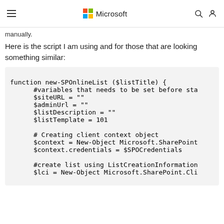Microsoft
manually.
Here is the script I am using and for those that are looking something similar:
function new-SPOnlineList ($listTitle) {
      #variables that needs to be set before sta
      $siteURL = ""
      $adminUrl = ""
      $listDescription = ""
      $listTemplate = 101

      # Creating client context object
      $context = New-Object Microsoft.SharePoint
      $context.credentials = $SPOCredentials

      #create list using ListCreationInformation
      $lci = New-Object Microsoft.SharePoint.Cli